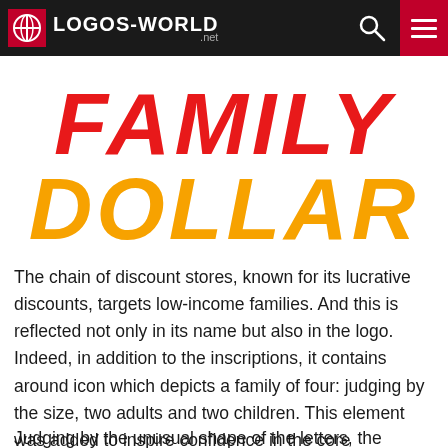LOGOS-WORLD.net
[Figure (logo): Family Dollar logo: 'FAMILY' in red bold italic text above 'DOLLAR' in orange bold italic text]
The chain of discount stores, known for its lucrative discounts, targets low-income families. And this is reflected not only in its name but also in the logo. Indeed, in addition to the inscriptions, it contains around icon which depicts a family of four: judging by the size, two adults and two children. This element was added to inspire confidence in the core demographic. The concept did not change even after the Family Dollar Company became the property of Dollar Tree.
Judging by the unusual shape of the letters, the designers